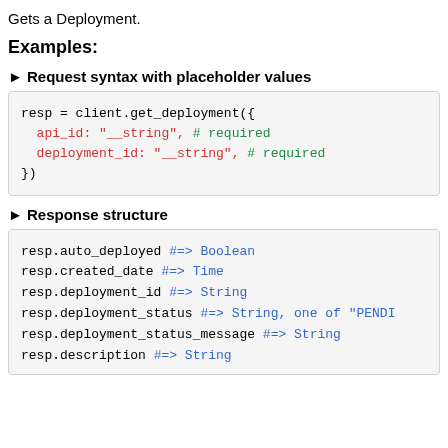Gets a Deployment.
Examples:
► Request syntax with placeholder values
resp = client.get_deployment({
  api_id: "__string", # required
  deployment_id: "__string", # required
})
► Response structure
resp.auto_deployed #=> Boolean
resp.created_date #=> Time
resp.deployment_id #=> String
resp.deployment_status #=> String, one of "PENDI
resp.deployment_status_message #=> String
resp.description #=> String